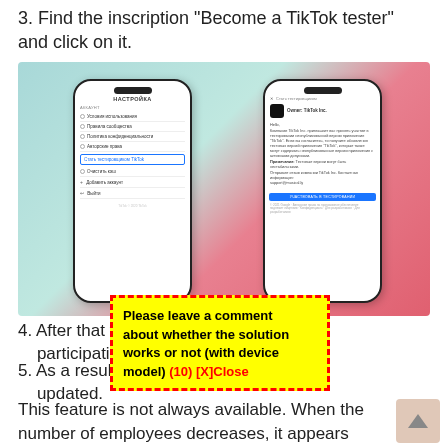3. Find the inscription "Become a TikTok tester" and click on it.
[Figure (screenshot): Two smartphone screenshots side by side on a teal/pink gradient background. Left phone shows a settings menu with options including 'Условия использования', 'Правила сообщества', 'Политика конфиденциальности', 'Авторские права', and a highlighted 'Стать тестировщиком TikTok' option, plus 'Очистить кэш', 'Добавить аккаунт', 'Выйти'. Right phone shows a 'Стать тестировщиком' invitation screen from TikTok Inc with descriptive text and a blue 'УЧАСТВОВАТЬ В ТЕСТИРОВАНИИ' button.]
4. After that you will receive an invitation to participate...
5. As a result, your application will be updated.
Please leave a comment about whether the solution works or not (with device model)  (10) [X]Close
This feature is not always available. When the number of employees decreases, it appears again,